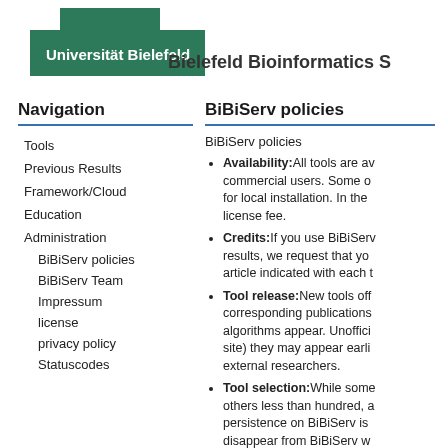[Figure (logo): Universität Bielefeld stepped green logo with white text, followed by 'Bielefeld Bioinformatics S' heading text]
Navigation
Tools
Previous Results
Framework/Cloud
Education
Administration
BiBiServ policies
BiBiServ Team
Impressum
license
privacy policy
Statuscodes
BiBiServ policies
BiBiServ policies
Availability:All tools are av... commercial users. Some o... for local installation. In the ... license fee.
Credits:If you use BiBiServ... results, we request that yo... article indicated with each t...
Tool release:New tools off... corresponding publications... algorithms appear. Unoffici... site) they may appear earli... external researchers.
Tool selection:While some... others less than hundred, a... persistence on BiBiServ is... disappear from BiBiServ w... (because scientific questio... ...d att d f th...